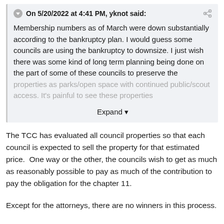On 5/20/2022 at 4:41 PM, yknot said:
Membership numbers as of March were down substantially according to the bankruptcy plan. I would guess some councils are using the bankruptcy to downsize. I just wish there was some kind of long term planning being done on the part of some of these councils to preserve the properties as parks/open space with continued public/scout access. It's painful to see these properties
Expand
The TCC has evaluated all council properties so that each council is expected to sell the property for that estimated price.  One way or the other, the councils wish to get as much as reasonably possible to pay as much of the contribution to pay the obligation for the chapter 11.
Except for the attorneys, there are no winners in this process.